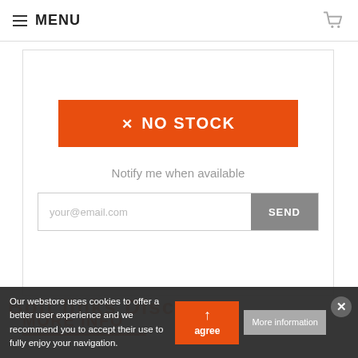≡ MENU
[Figure (screenshot): Product out-of-stock card with orange NO STOCK button, email notification input field, and SEND button]
MORE INFO
Our webstore uses cookies to offer a better user experience and we recommend you to accept their use to fully enjoy your navigation.